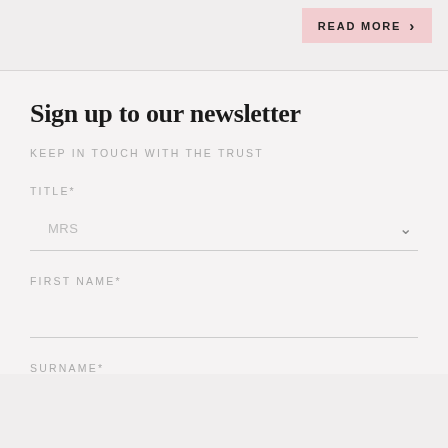READ MORE
Sign up to our newsletter
KEEP IN TOUCH WITH THE TRUST
TITLE*
MRS
FIRST NAME*
SURNAME*